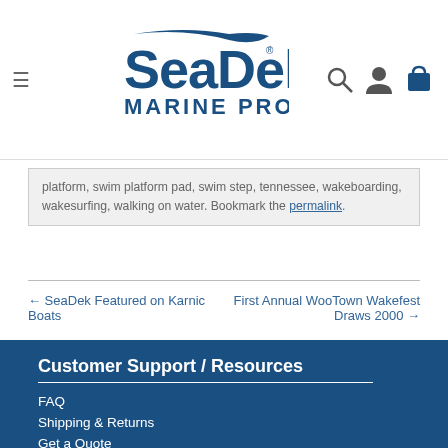SeaDek Marine Products
platform, swim platform pad, swim step, tennessee, wakeboarding, wakesurfing, walking on water. Bookmark the permalink.
← SeaDek Featured on Karnic Boats
First Annual WooTown Wakefest Draws 2000 →
Customer Support / Resources
FAQ
Shipping & Returns
Get a Quote
Downloads / Warranty